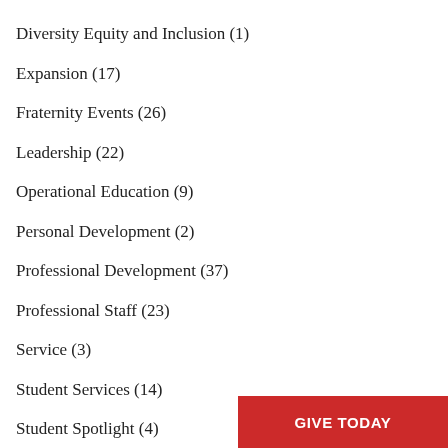Diversity Equity and Inclusion (1)
Expansion (17)
Fraternity Events (26)
Leadership (22)
Operational Education (9)
Personal Development (2)
Professional Development (37)
Professional Staff (23)
Service (3)
Student Services (14)
Student Spotlight (4)
Updates (27)
GIVE TODAY